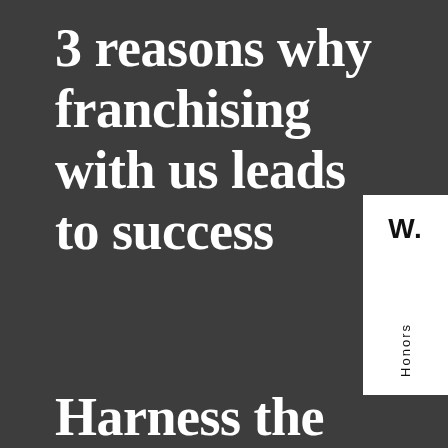3 reasons why franchising with us leads to success
[Figure (logo): White box with bold 'W.' logo at top and vertical 'Honors' text below]
Harness the